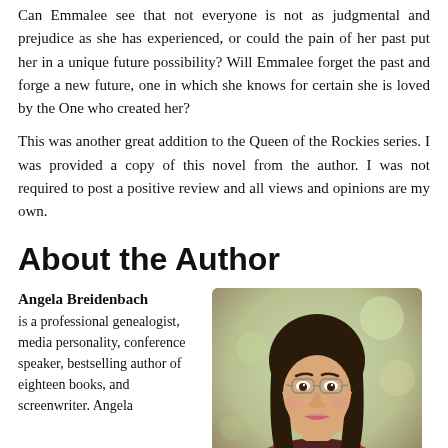Can Emmalee see that not everyone is not as judgmental and prejudice as she has experienced, or could the pain of her past put her in a unique future possibility? Will Emmalee forget the past and forge a new future, one in which she knows for certain she is loved by the One who created her?
This was another great addition to the Queen of the Rockies series. I was provided a copy of this novel from the author. I was not required to post a positive review and all views and opinions are my own.
About the Author
Angela Breidenbach is a professional genealogist, media personality, conference speaker, bestselling author of eighteen books, and screenwriter. Angela
[Figure (photo): Portrait photo of Angela Breidenbach, a woman with dark hair and glasses, wearing a red top, with a blurred outdoor background.]